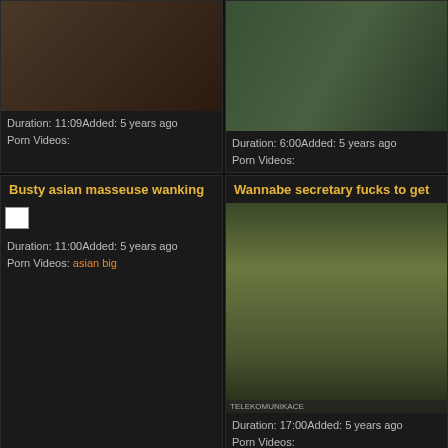[Figure (screenshot): Video thumbnail - fake taxi scene]
Duration: 11:09Added: 5 years ago
Porn Videos:
[Figure (screenshot): Video thumbnail - czech pool outdoor scene]
Duration: 6:00Added: 5 years ago
Porn Videos:
Busty asian masseuse wanking
[Figure (screenshot): Broken image thumbnail]
Duration: 11:00Added: 5 years ago
Porn Videos: asian big
Wannabe secretary fucks to get
[Figure (screenshot): Video thumbnail - telekomunikace office scene]
Duration: 17:00Added: 5 years ago
Porn Videos:
Wife caught on spycam
[Figure (screenshot): Broken image thumbnail]
Duration: 1:4:06Added: 5 years ago
Peeping the japanese girl's
[Figure (screenshot): Video thumbnail - partially visible]